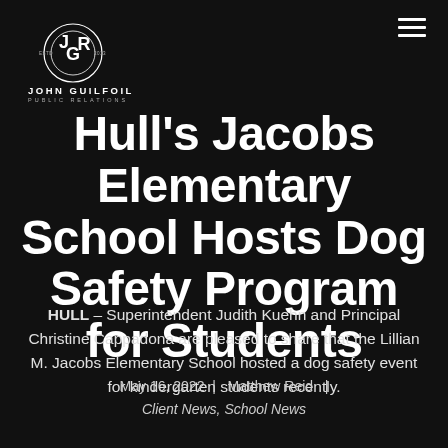[Figure (logo): John Guilfoil Public Relations circular logo with letters JGR, ESTD 2013]
Hull's Jacobs Elementary School Hosts Dog Safety Program for Students
HULL – Superintendent Judith Kuehn and Principal Christine Cappadona are pleased to share that the Lillian M. Jacobs Elementary School hosted a dog safety event for kindergarten students recently.
May 16, 2022  |  Matthew Reid  |  Client News, School News